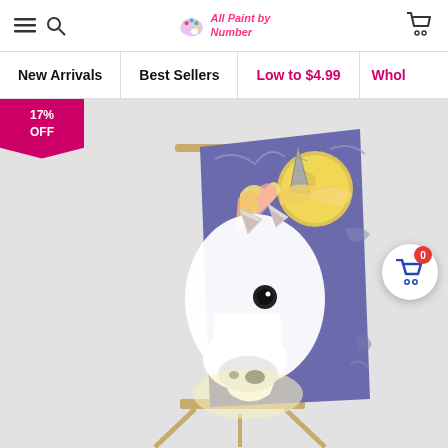All Paint by Number - Navigation Header
New Arrivals
Best Sellers
Low to $4.99
Whol...
[Figure (photo): Unicorn paint-by-number product displayed on an easel. The painting shows a white unicorn horse with colorful mane, a glowing horn, and a large yellow moon against a purple night sky background. A 17% OFF discount badge is shown at the top left. A floating cart button with badge showing 0 is at the right side.]